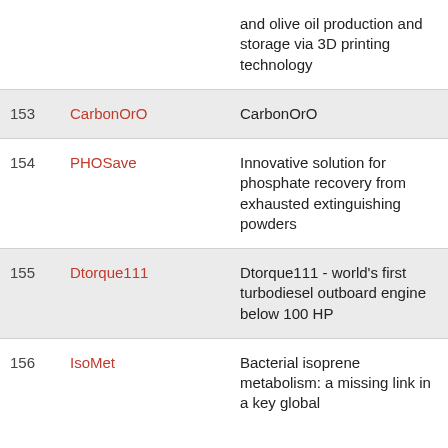| # | Name | Description |
| --- | --- | --- |
|  |  | and olive oil production and storage via 3D printing technology |
| 153 | CarbonOrO | CarbonOrO |
| 154 | PHOSave | Innovative solution for phosphate recovery from exhausted extinguishing powders |
| 155 | Dtorque111 | Dtorque111 - world's first turbodiesel outboard engine below 100 HP |
| 156 | IsoMet | Bacterial isoprene metabolism: a missing link in a key global |